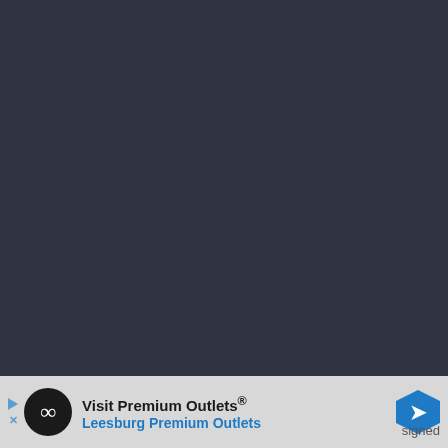placing advertising on the Site, and CafeMedia will collect and use certain data for advertising purposes. To learn more about CafeMedia's Privacy Policy, click here.
Food Storage Moms, LLC is a participant in the Amazon Services LLC Associates Program, an affiliate advertising
[Figure (other): Advertisement banner for 'Visit Premium Outlets® Leesburg Premium Outlets' with a circular black logo with infinity symbol, navigation arrow hex icon, and play/close icons on left. Partial text 'signed' visible on right.]